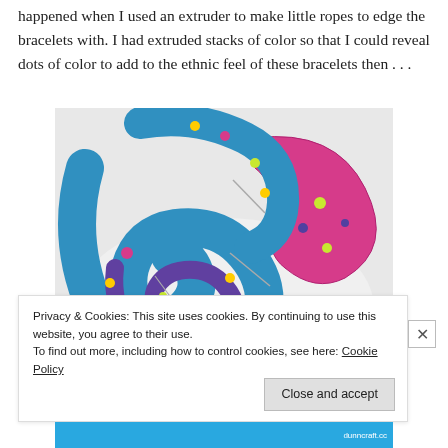happened when I used an extruder to make little ropes to edge the bracelets with. I had extruded stacks of color so that I could reveal dots of color to add to the ethnic feel of these bracelets then . . .
[Figure (photo): Colorful polymer clay bracelets with polka dots in teal, blue, purple, green, and pink/magenta, arranged in a sculptural cluster on a white surface.]
Privacy & Cookies: This site uses cookies. By continuing to use this website, you agree to their use.
To find out more, including how to control cookies, see here: Cookie Policy
Close and accept